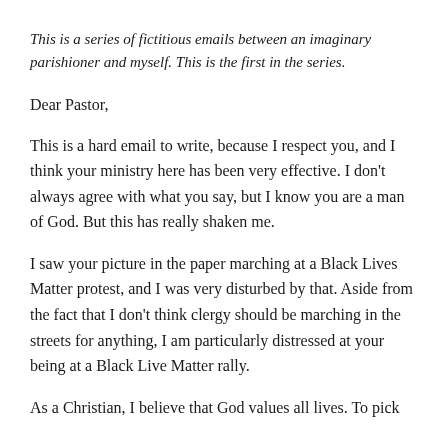This is a series of fictitious emails between an imaginary parishioner and myself. This is the first in the series.
Dear Pastor,
This is a hard email to write, because I respect you, and I think your ministry here has been very effective. I don't always agree with what you say, but I know you are a man of God. But this has really shaken me.
I saw your picture in the paper marching at a Black Lives Matter protest, and I was very disturbed by that. Aside from the fact that I don't think clergy should be marching in the streets for anything, I am particularly distressed at your being at a Black Live Matter rally.
As a Christian, I believe that God values all lives. To pick